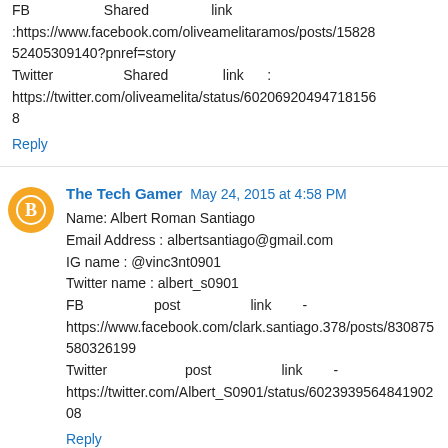FB Shared link :https://www.facebook.com/oliveamelitaramos/posts/1582852405309140?pnref=story Twitter Shared link : https://twitter.com/oliveamelita/status/602069204947181568
Reply
The Tech Gamer May 24, 2015 at 4:58 PM
Name: Albert Roman Santiago
Email Address : albertsantiago@gmail.com
IG name : @vinc3nt0901
Twitter name : albert_s0901
FB post link - https://www.facebook.com/clark.santiago.378/posts/830875580326199
Twitter post link - https://twitter.com/Albert_S0901/status/602393956484190208
Reply